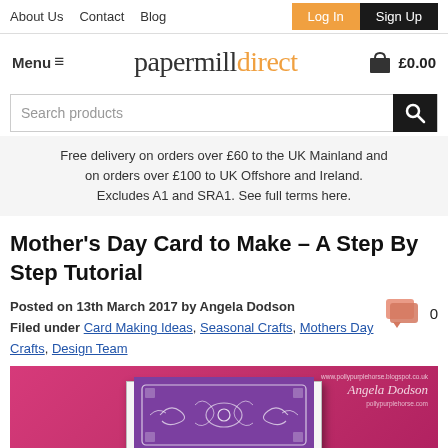About Us  Contact  Blog  |  Log In  Sign Up
papermilldirect
Menu  ≡   £0.00
Search products
Free delivery on orders over £60 to the UK Mainland and on orders over £100 to UK Offshore and Ireland. Excludes A1 and SRA1. See full terms here.
Mother's Day Card to Make – A Step By Step Tutorial
Posted on 13th March 2017 by Angela Dodson
Filed under Card Making Ideas, Seasonal Crafts, Mothers Day Crafts, Design Team
[Figure (photo): A handmade Mother's Day card displayed on a pink/magenta background. The card shows a purple front panel with white decorative die-cut lace/scroll pattern. Watermark text reads 'www.pollypurplehorse.blogspot.co.uk Angela Dodson pollypurplehorse.com']